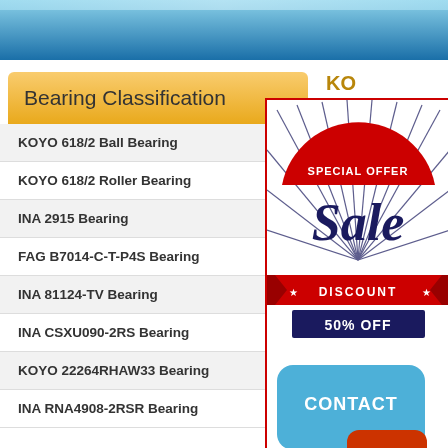Bearing Classification
KOYO 618/2 Ball Bearing
KOYO 618/2 Roller Bearing
INA 2915 Bearing
FAG B7014-C-T-P4S Bearing
INA 81124-TV Bearing
INA CSXU090-2RS Bearing
KOYO 22264RHAW33 Bearing
INA RNA4908-2RSR Bearing
KO
| Field | Value |
| --- | --- |
| Bearing type: | 6 |
| New... |  |
| Old... |  |
| d (m |  |
| D (m |  |
| B (m |  |
| bearing type: | 6 |
| Brand: | K |
| Dimensions: | C |
[Figure (infographic): Special Offer Sale Discount 50% Off advertisement banner with red arc top, navy Sale text, red discount ribbon, and Contact Us speech bubble in blue and red]
bearing type: 6
Brand: K
Dimensions: C